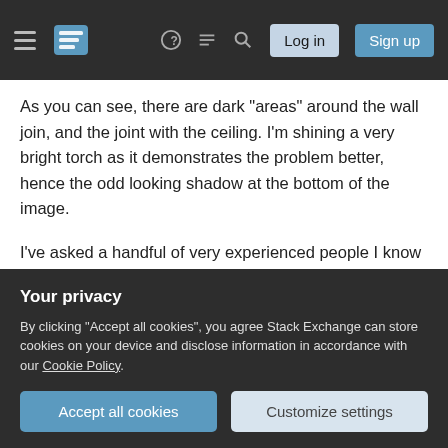Stack Exchange navigation header with hamburger menu, logo, help, chat, search icons, Log in and Sign up buttons
As you can see, there are dark "areas" around the wall join, and the joint with the ceiling. I'm shining a very bright torch as it demonstrates the problem better, hence the odd looking shadow at the bottom of the image.
I've asked a handful of very experienced people I know who have painted many rooms (all DIYers, but still), and they all concluded that the paint wasn't applied thick enough on the wall itself, and that actually the problem is not the joints, but the main
Your privacy
By clicking "Accept all cookies", you agree Stack Exchange can store cookies on your device and disclose information in accordance with our Cookie Policy.
Accept all cookies
Customize settings